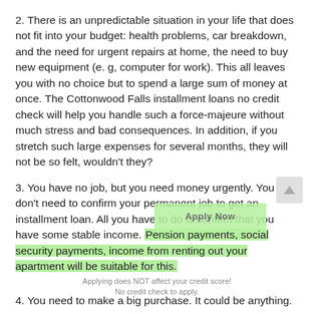2. There is an unpredictable situation in your life that does not fit into your budget: health problems, car breakdown, and the need for urgent repairs at home, the need to buy new equipment (e. g, computer for work). This all leaves you with no choice but to spend a large sum of money at once. The Cottonwood Falls installment loans no credit check will help you handle such a force-majeure without much stress and bad consequences. In addition, if you stretch such large expenses for several months, they will not be so felt, wouldn't they?
3. You have no job, but you need money urgently. You don't need to confirm your permanent job to get an installment loan. All you have to do is confirm that you have some stable income. Pension payments, social security payments, income from renting out your apartment will be suitable for this.
Applying does NOT affect your credit score!
No credit check to apply.
4. You need to make a big purchase. It could be anything.